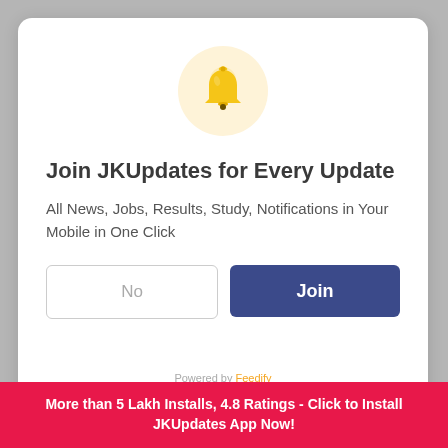[Figure (illustration): Bell notification icon inside a light yellow circle]
Join JKUpdates for Every Update
All News, Jobs, Results, Study, Notifications in Your Mobile in One Click
No | Join
Powered by Feedify
Science Teacher
More than 5 Lakh Installs, 4.8 Ratings - Click to Install JKUpdates App Now!